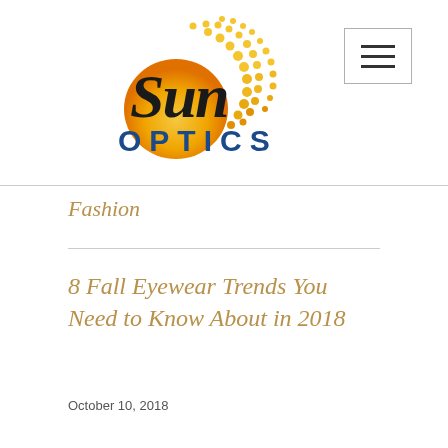[Figure (logo): Sun Optics logo with stylized sun graphic and text 'Sun OPTICS' — 'Sun' in black serif, 'OPTICS' in blue sans-serif, with golden sun/dots graphic]
[Figure (other): Hamburger menu button — three horizontal bars inside a square border]
Fashion
8 Fall Eyewear Trends You Need to Know About in 2018
October 10, 2018